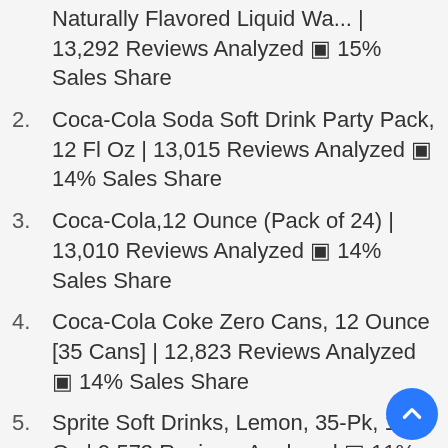Naturally Flavored Liquid Wa... | 13,292 Reviews Analyzed ⬡ 15% Sales Share
2. Coca-Cola Soda Soft Drink Party Pack, 12 Fl Oz | 13,015 Reviews Analyzed ⬡ 14% Sales Share
3. Coca-Cola,12 Ounce (Pack of 24) | 13,010 Reviews Analyzed ⬡ 14% Sales Share
4. Coca-Cola Coke Zero Cans, 12 Ounce [35 Cans] | 12,823 Reviews Analyzed ⬡ 14% Sales Share
5. Sprite Soft Drinks, Lemon, 35-Pk, 12 Fl Oz | 9,573 Reviews Analyzed ⬡ 11% Sales Share
6. Lil Critters Kids Immune C Gummy Supplement: Vitamins C, D3 & Zinc ... | 6,36...